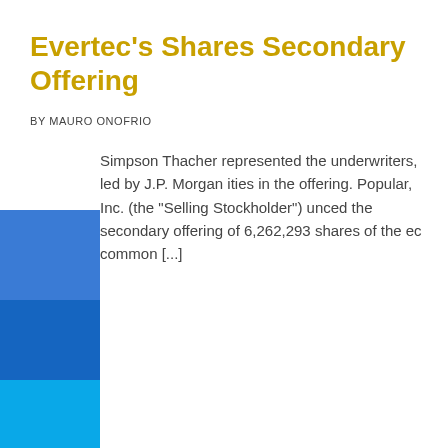Evertec's Shares Secondary Offering
BY MAURO ONOFRIO
Simpson Thacher represented the underwriters, led by J.P. Morgan ities in the offering. Popular, Inc. (the "Selling Stockholder") unced the secondary offering of 6,262,293 shares of the ec common [...]
[Figure (infographic): Decorative colored vertical blocks on the left side of the page: dark blue, medium blue, bright cyan/blue, light gray, and dark gray rectangles stacked vertically.]